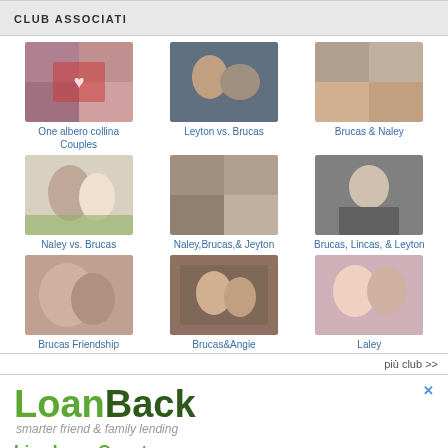CLUB ASSOCIATI
[Figure (photo): Grid of couple photos - One albero collina Couples]
One albero collina Couples
[Figure (photo): Couple photo - Leyton vs. Brucas]
Leyton vs. Brucas
[Figure (photo): Grid of couple photos - Brucas & Naley]
Brucas & Naley
[Figure (photo): Dancing couple photo - Naley vs. Brucas]
Naley vs. Brucas
[Figure (photo): Collage photo - Naley,Brucas,& Jeyton]
Naley,Brucas,& Jeyton
[Figure (photo): Man photo - Brucas, Lincas, & Leyton]
Brucas, Lincas, & Leyton
[Figure (photo): Friendship photo - Brucas Friendship]
Brucas Friendship
[Figure (photo): Indoor photo - Brucas&Angie]
Brucas&Angie
[Figure (photo): Couple selfie photo - Laley]
Laley
più club >>
[Figure (logo): LoanBack advertisement logo with tagline smarter friend & family lending]
Live Loan Counter